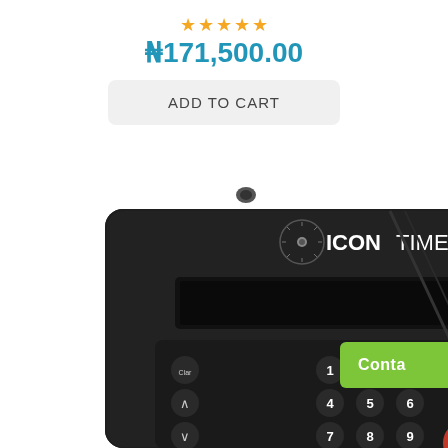★★★★★
₦171,500.00
ADD TO CART
[Figure (photo): ICONTIME fingerprint time clock device, black, with numeric keypad, green In button, red Out button, fingerprint scanner on the right side panel]
Conta